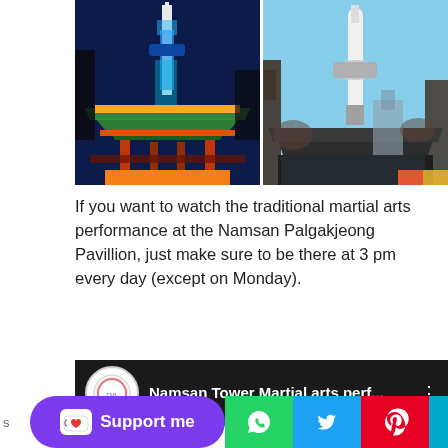[Figure (photo): Namsan Tower illuminated in blue at night behind a traditional Korean pavilion with colorful roof decorations]
[Figure (photo): Namsan Tower in daytime with white cylindrical tower against blue sky, traditional Korean pavilion in foreground]
If you want to watch the traditional martial arts performance at the Namsan Palgakjeong Pavillion, just make sure to be there at 3 pm every day (except on Monday).
[Figure (screenshot): YouTube video thumbnail bar showing 'Namsan Tower Martial arts perf...' with channel logo]
[Figure (infographic): Social sharing bar with Support me button (Ko-fi/purple), WhatsApp, Twitter, Pinterest, and another icon]